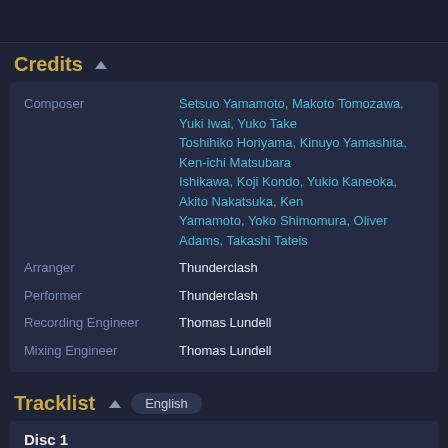Credits
| Role | Name |
| --- | --- |
| Composer | Setsuo Yamamoto, Makoto Tomozawa, Yuki Iwai, Yuko Take, Toshihiko Horiyama, Kinuyo Yamashita, Ken-ichi Matsubara, Ishikawa, Koji Kondo, Yukio Kaneoka, Akito Nakatsuka, Ken Yamamoto, Yoko Shimomura, Oliver Adams, Takashi Tateis |
| Arranger | Thunderclash |
| Performer | Thunderclash |
| Recording Engineer | Thomas Lundell |
| Mixing Engineer | Thomas Lundell |
Tracklist
English
Disc 1
01 Mega Medley
02 He Wants To Suck Your..
03 The Pink Block
04 Dark Lord Bowser
05 Raising Spirit
06 The Warrior's Code
07 Thrash Fatality
08 Agahnim's Return, A Tribute to the Past
09 Mega Men
Disc length